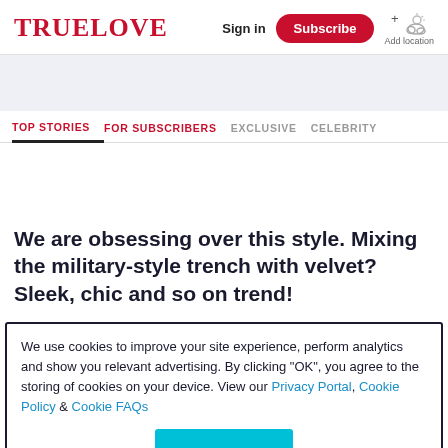TRUELOVE | Sign in | Subscribe | Add location
TOP STORIES | FOR SUBSCRIBERS | EXCLUSIVE | CELEBRITY
We are obsessing over this style. Mixing the military-style trench with velvet? Sleek, chic and so on trend!
We use cookies to improve your site experience, perform analytics and show you relevant advertising. By clicking "OK", you agree to the storing of cookies on your device. View our Privacy Portal, Cookie Policy & Cookie FAQs